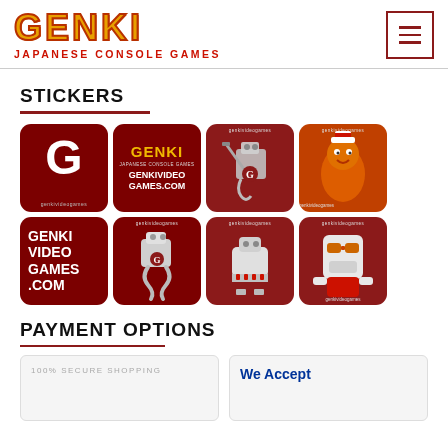[Figure (logo): GENKI Japanese Console Games logo - orange/yellow stylized text with red tagline]
[Figure (illustration): Hamburger menu icon button with three horizontal lines in dark red border]
STICKERS
[Figure (illustration): Grid of 8 Genki Video Games branded stickers showing G logo, GENKI text, robot characters, orange cartoon character, and mascot with goggles on dark red backgrounds]
PAYMENT OPTIONS
[Figure (illustration): 100% SECURE SHOPPING payment option box]
[Figure (illustration): We Accept payment option box]